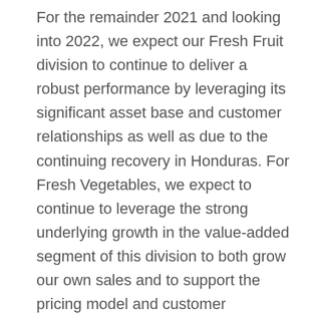For the remainder 2021 and looking into 2022, we expect our Fresh Fruit division to continue to deliver a robust performance by leveraging its significant asset base and customer relationships as well as due to the continuing recovery in Honduras. For Fresh Vegetables, we expect to continue to leverage the strong underlying growth in the value-added segment of this division to both grow our own sales and to support the pricing model and customer relationships that allow us to respond to cost pressures where they can be — where they can't be offset. And finally, in our two diversified fresh produce businesses, we expect to continue to build on our success with key customers by leveraging the benefits of Dole plc's integrated supply chain to bring our customers even closer to source and by continuing to expand our service offerings in the marketplace. Overall, we remain confident that the excellent underlying fundamentals of our category, our primary position in this category and our high-quality